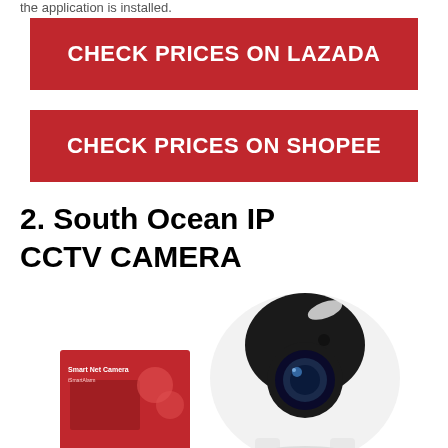the application is installed.
CHECK PRICES ON LAZADA
CHECK PRICES ON SHOPEE
2. South Ocean IP CCTV CAMERA
[Figure (photo): South Ocean IP CCTV camera product image showing a white and black dome-style security camera alongside its red retail packaging box labeled Smart Net Camera]